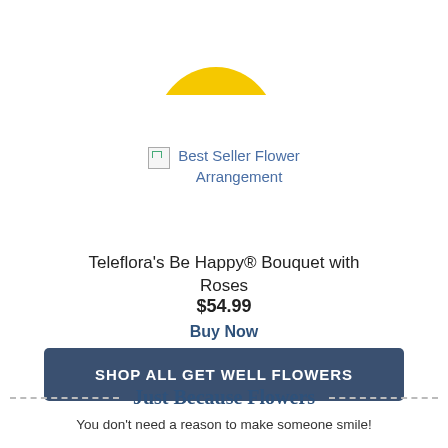[Figure (illustration): Yellow smiley face mug/cup with a handle, partially cropped at top of page]
[Figure (photo): Broken image placeholder icon for Best Seller Flower Arrangement product image]
Best Seller Flower Arrangement
Teleflora's Be Happy® Bouquet with Roses
$54.99
Buy Now
SHOP ALL GET WELL FLOWERS
Just Because Flowers
You don't need a reason to make someone smile!